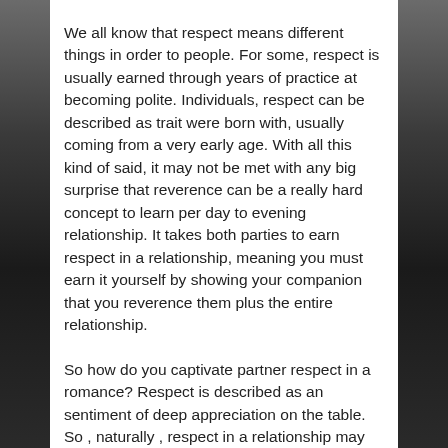We all know that respect means different things in order to people. For some, respect is usually earned through years of practice at becoming polite. Individuals, respect can be described as trait were born with, usually coming from a very early age. With all this kind of said, it may not be met with any big surprise that reverence can be a really hard concept to learn per day to evening relationship. It takes both parties to earn respect in a relationship, meaning you must earn it yourself by showing your companion that you reverence them plus the entire relationship.
So how do you captivate partner respect in a romance? Respect is described as an sentiment of deep appreciation on the table. So , naturally , respect in a relationship may be the exact contrary of that. Nevertheless , when it comes to individual relations, determining what exactly is reverence and what isn't can be tricky. So as to have a healthy romance where equally partners